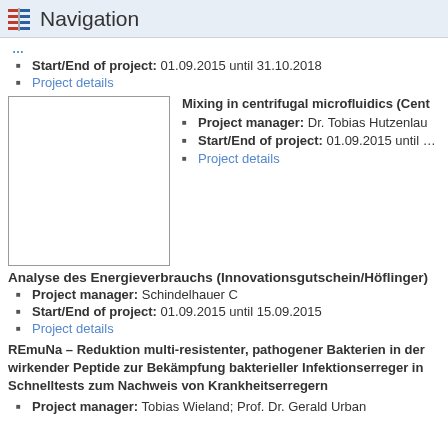Navigation
Start/End of project: 01.09.2015 until 31.10.2018
Project details
[Figure (photo): Blank/placeholder image box]
Mixing in centrifugal microfluidics (Cent…
Project manager: Dr. Tobias Hutzenlaub
Start/End of project: 01.09.2015 until …
Project details
Analyse des Energieverbrauchs (Innovationsgutschein/Höflinger)
Project manager: Schindelhauer C
Start/End of project: 01.09.2015 until 15.09.2015
Project details
REmuNa – Reduktion multi-resistenter, pathogener Bakterien in der … wirkender Peptide zur Bekämpfung bakterieller Infektionserreger in … Schnelltests zum Nachweis von Krankheitserregern
Project manager: Tobias Wieland; Prof. Dr. Gerald Urban